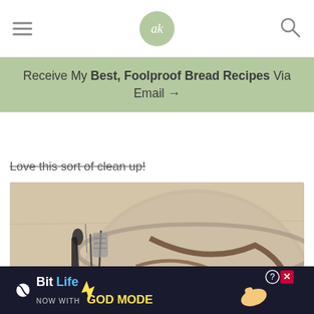ak (logo) navigation bar with hamburger menu and search icon
Receive My Best, Foolproof Bread Recipes Via Email →
Love this sort of clean up!
[Figure (photo): Overhead view of a glass mixing bowl with chocolate residue and a teal spatula, next to a glass cup holding measuring spoons on a wooden surface]
[Figure (screenshot): BitLife advertisement banner - NOW WITH GOD MODE with lightning bolt graphic and pointing hand icons]